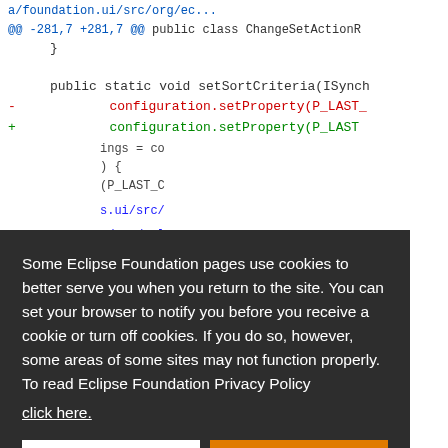[Figure (screenshot): Code diff screenshot showing Java class ChangeSetActionR with diff lines for configuration.setProperty(P_LAST_...) and related code, with blue/green/red syntax highlighting on white background]
Some Eclipse Foundation pages use cookies to better serve you when you return to the site. You can set your browser to notify you before you receive a cookie or turn off cookies. If you do so, however, some areas of some sites may not function properly. To read Eclipse Foundation Privacy Policy click here.